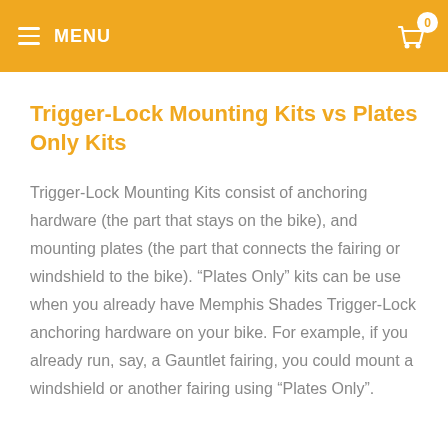MENU
Trigger-Lock Mounting Kits vs Plates Only Kits
Trigger-Lock Mounting Kits consist of anchoring hardware (the part that stays on the bike), and mounting plates (the part that connects the fairing or windshield to the bike). “Plates Only” kits can be use when you already have Memphis Shades Trigger-Lock anchoring hardware on your bike. For example, if you already run, say, a Gauntlet fairing, you could mount a windshield or another fairing using “Plates Only”.